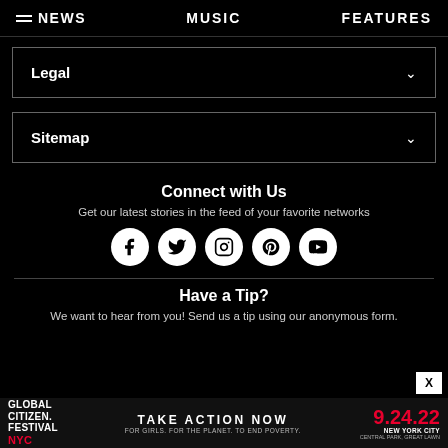≡ NEWS   MUSIC   FEATURES
Legal
Sitemap
Connect with Us
Get our latest stories in the feed of your favorite networks
[Figure (infographic): Row of 5 social media icons (Facebook, Twitter, Instagram, Pinterest, YouTube) as white circles with black symbols]
Have a Tip?
We want to hear from you! Send us a tip using our anonymous form.
[Figure (infographic): Global Citizen Festival NYC banner ad reading TAKE ACTION NOW FOR GIRLS. FOR THE PLANET. TO END POVERTY. 9.24.22 NEW YORK CITY CENTRAL PARK, GREAT LAWN]